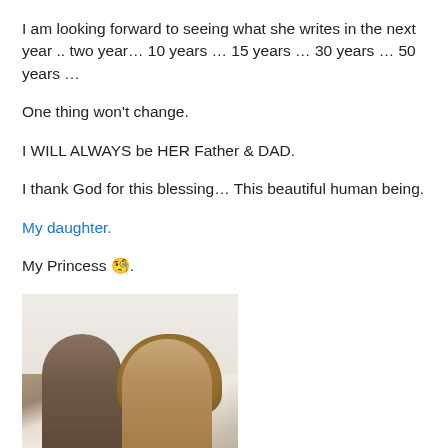I am looking forward to seeing what she writes in the next year .. two year… 10 years … 15 years … 30 years … 50 years …
One thing won't change.
I WILL ALWAYS be HER Father & DAD.
I thank God for this blessing… This beautiful human being.
My daughter.
My Princess 🙁.
[Figure (photo): A photo showing two children — a boy on the left with dark hair and a girl on the right with curly light brown hair, both facing the camera, cropped at the bottom of the page.]